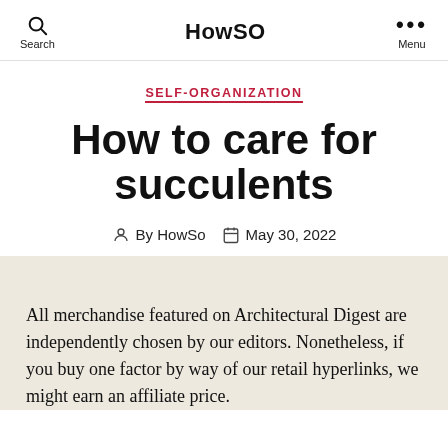Search  HowSO  Menu
SELF-ORGANIZATION
How to care for succulents
By HowSo   May 30, 2022
All merchandise featured on Architectural Digest are independently chosen by our editors. Nonetheless, if you buy one factor by way of our retail hyperlinks, we might earn an affiliate price.